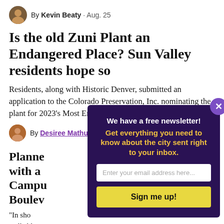By Kevin Beaty · Aug. 25
Is the old Zuni Plant an Endangered Place? Sun Valley residents hope so
Residents, along with Historic Denver, submitted an application to the Colorado Preservation, Inc. nominating the plant for 2023's Most Endangered Places list.
By Desiree Mathurin · Aug. 25
Planned... with a... Campus... Boulevard...
"In sho... walkable...
By K...
[Figure (infographic): Newsletter signup modal overlay with dark purple background, title 'We have a free newsletter!', subtitle in yellow 'Get everything you need to know about the city sent right to your inbox.', an email input field, and a yellow 'Sign me up!' button. A purple X close button in the top right corner.]